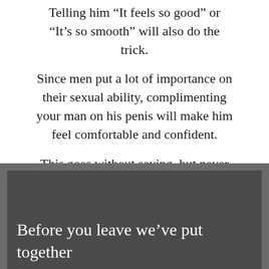Telling him “It feels so good” or “It’s so smooth” will also do the trick.
Since men put a lot of importance on their sexual ability, complimenting your man on his penis will make him feel comfortable and confident.
This goes without saying, but never EVER compliment him in comparison to another guy.
[Figure (photo): Dark toned image with white overlaid text reading 'Before you leave we’ve put together']